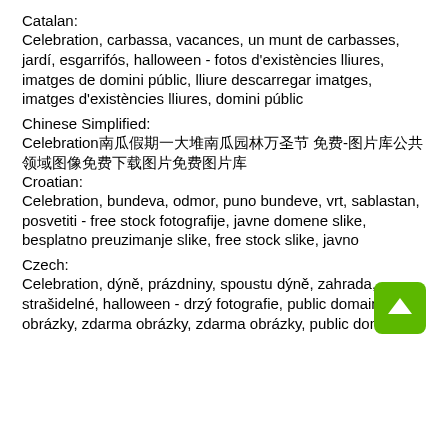Catalan:
Celebration, carbassa, vacances, un munt de carbasses, jardí, esgarrifós, halloween - fotos d'existències lliures, imatges de domini públic, lliure descarregar imatges, imatges d'existències lliures, domini públic
Chinese Simplified:
Celebration南瓜假期一大堆南瓜园林万圣节 免费-图片库公共领域图像免费下载图片免费图片库
Croatian:
Celebration, bundeva, odmor, puno bundeve, vrt, sablastan, posvetiti - free stock fotografije, javne domene slike, besplatno preuzimanje slike, free stock slike, javno
Czech:
Celebration, dýně, prázdniny, spoustu dýně, zahrada, strašidelné, halloween - drzý fotografie, public domain obrázky, zdarma obrázky, zdarma obrázky, public domain